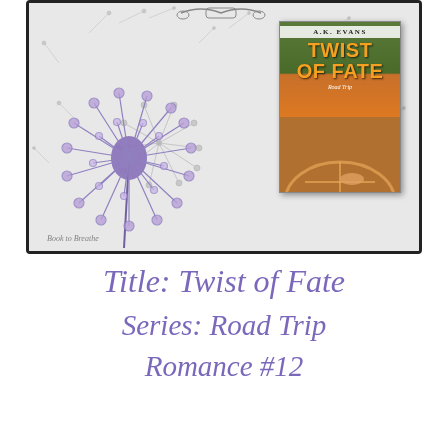[Figure (illustration): Book promotional image with dandelion artwork background (black and white with purple dandelion) and book cover overlay for 'Twist of Fate' by A.K. Evans, Road Trip Romance series. Book cover shows orange/green design with steering wheel photo at bottom.]
Title: Twist of Fate
Series: Road Trip
Romance #12